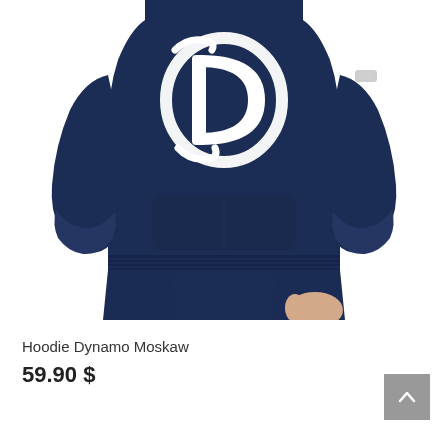[Figure (photo): Person wearing a navy blue Dynamo Moskaw hoodie with a large white Dynamo logo on the chest and matching navy sweatpants. The image is cropped from chest to thigh level, showing the upper body and arms. The background is white.]
Hoodie Dynamo Moskaw
59.90 $